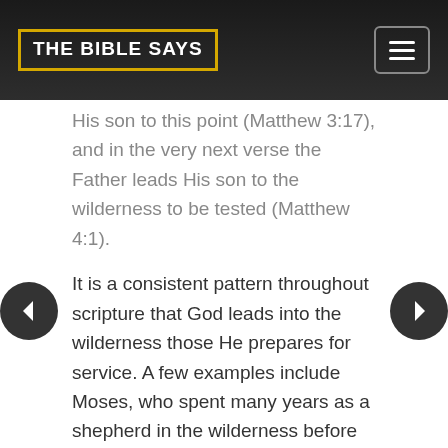THE BIBLE SAYS
His son to this point (Matthew 3:17), and in the very next verse the Father leads His son to the wilderness to be tested (Matthew 4:1).
It is a consistent pattern throughout scripture that God leads into the wilderness those He prepares for service. A few examples include Moses, who spent many years as a shepherd in the wilderness before he was called to lead Israel out of Egypt. David also spent time in the wilderness hiding from Saul. The nation of Israel wandered in the wilderness for 40 years prior to entering the Promised Land. The principle here is that times of testing can be a sign of